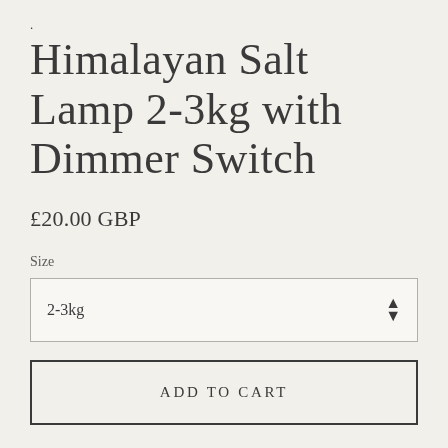.
Himalayan Salt Lamp 2-3kg with Dimmer Switch
£20.00 GBP
Size
2-3kg
ADD TO CART